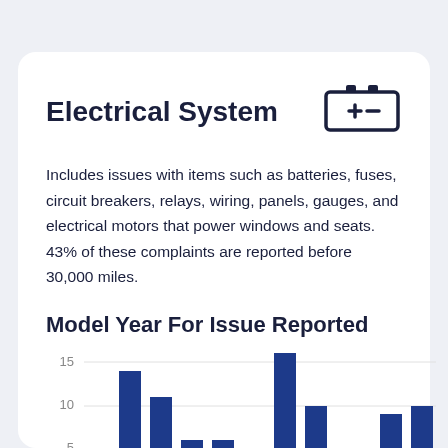Electrical System
Includes issues with items such as batteries, fuses, circuit breakers, relays, wiring, panels, gauges, and electrical motors that power windows and seats. 43% of these complaints are reported before 30,000 miles.
Model Year For Issue Reported
[Figure (bar-chart): Bar chart showing model year for issue reported. The tallest bar is labeled 16. Y-axis shows values 5, 10, 15. Several bars visible with varying heights.]